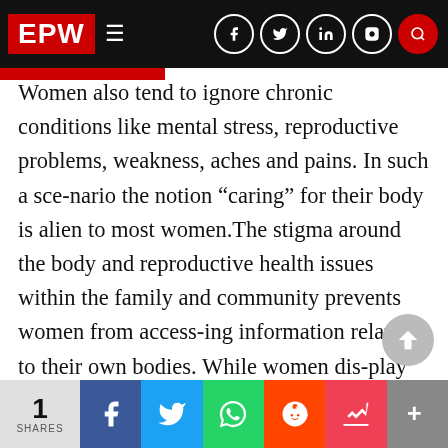EPW
Women also tend to ignore chronic conditions like mental stress, reproductive problems, weakness, aches and pains. In such a sce-nario the notion “caring” for their body is alien to most women.The stigma around the body and reproductive health issues within the family and community prevents women from access-ing information related to their own bodies. While women dis-play disturbingly low levels of awareness about health (including antenatal care, contraception, immunisation and nutrition dur-ing pregnancy), the health delivery system contin to be insen-sitive in its response to poor wom
1 SHARES